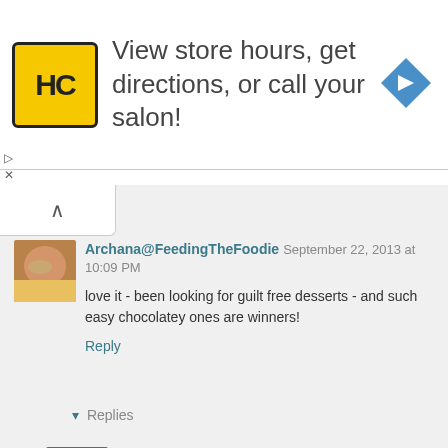[Figure (screenshot): Advertisement banner with HC logo (yellow square with black HC text), text 'View store hours, get directions, or call your salon!', and a blue diamond-shaped navigation arrow icon]
Archana@FeedingTheFoodie September 22, 2013 at 10:09 PM
love it - been looking for guilt free desserts - and such easy chocolatey ones are winners!
Reply
▾ Replies
Mike @TheIronYou September 24, 2013 at 12:51 PM
Total winner Archana, guilt-free all the way! :-)